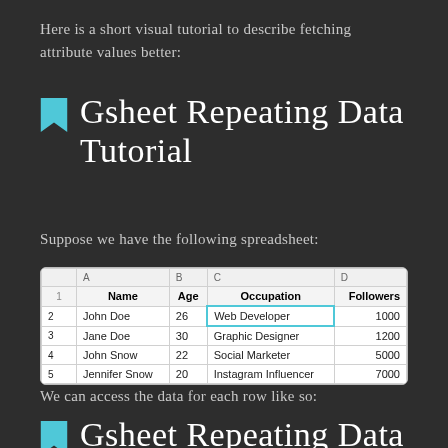Here is a short visual tutorial to describe fetching attribute values better:
Gsheet Repeating Data Tutorial
Suppose we have the following spreadsheet:
|  | A | B | C | D |
| --- | --- | --- | --- | --- |
| 1 | Name | Age | Occupation | Followers |
| 2 | John Doe | 26 | Web Developer | 1000 |
| 3 | Jane Doe | 30 | Graphic Designer | 1200 |
| 4 | John Snow | 22 | Social Marketer | 5000 |
| 5 | Jennifer Snow | 20 | Instagram Influencer | 7000 |
We can access the data for each row like so:
Gsheet Repeating Data